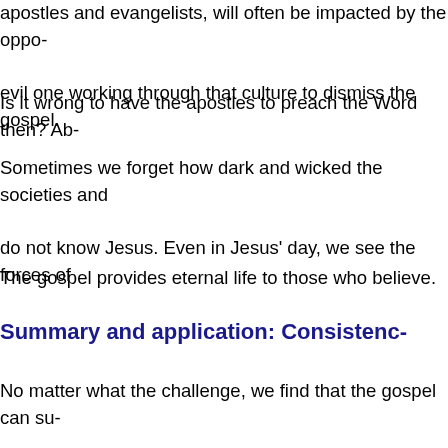apostles and evangelists, will often be impacted by the oppo- evil one working through that culture to dismiss the gospel.
Is it wrong to have the apostles to preach the Word then? Ab-
Sometimes we forget how dark and wicked the societies and do not know Jesus. Even in Jesus' day, we see the forces of
The gospel provides eternal life to those who believe.
Summary and application: Consistenc-
No matter what the challenge, we find that the gospel can su- during difficult times. Challenges will continue to arise, but w- face and endure them with great hopes of being an example